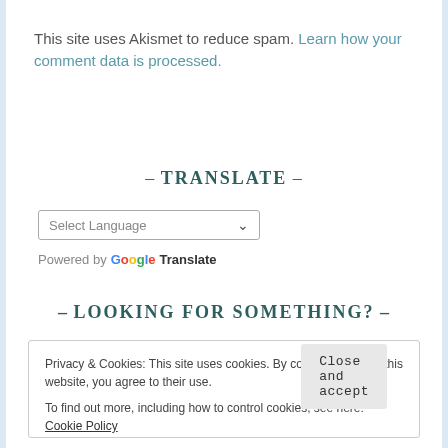This site uses Akismet to reduce spam. Learn how your comment data is processed.
– Translate –
[Figure (screenshot): A language selector dropdown UI element showing 'Select Language' with a dropdown arrow]
Powered by Google Translate
– Looking for something? –
Privacy & Cookies: This site uses cookies. By continuing to use this website, you agree to their use.
To find out more, including how to control cookies, see here: Cookie Policy
Close and accept